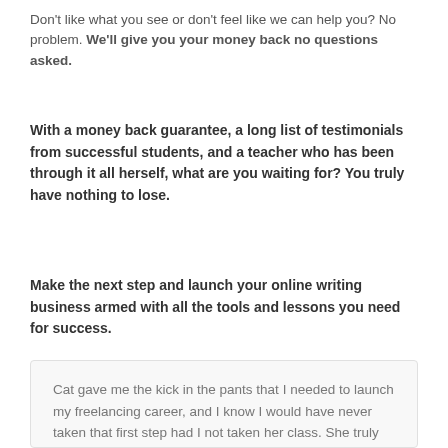Don't like what you see or don't feel like we can help you? No problem. We'll give you your money back no questions asked.
With a money back guarantee, a long list of testimonials from successful students, and a teacher who has been through it all herself, what are you waiting for? You truly have nothing to lose.
Make the next step and launch your online writing business armed with all the tools and lessons you need for success.
Cat gave me the kick in the pants that I needed to launch my freelancing career, and I know I would have never taken that first step had I not taken her class. She truly knows the ins and outs of it all...I had a job within the very first week of starting, and I